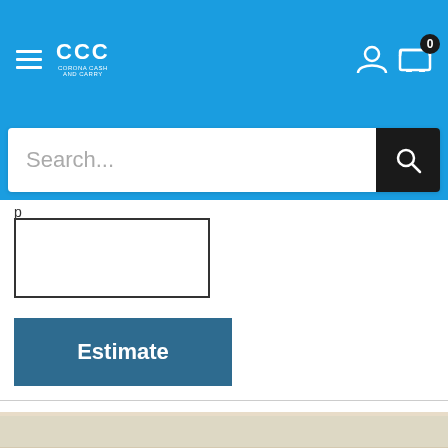[Figure (screenshot): Blue navigation header bar with hamburger menu, CCC (Corona Cash and Carry) logo, user account icon, and cart icon with badge showing 0]
[Figure (screenshot): Search bar with placeholder text 'Search...' and black search button with magnifying glass icon]
[Figure (screenshot): White input box for zip code entry]
[Figure (screenshot): Dark blue 'Estimate' button]
Refund Policy
You may also like